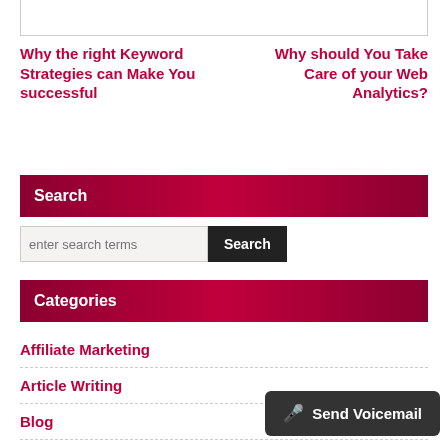Why the right Keyword Strategies can Make You successful
Why should You Take Care of your Web Analytics?
Search
enter search terms [Search]
Categories
Affiliate Marketing
Article Writing
Blog
Blogger Tools For Online Busin…
Send Voicemail